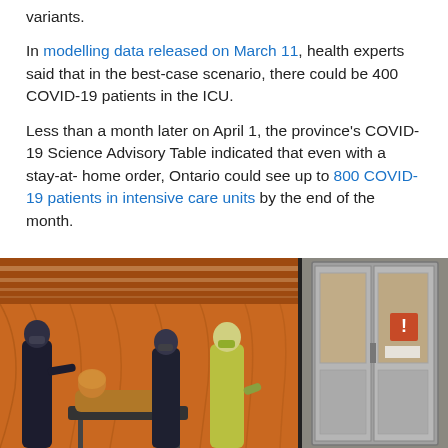variants.
In modelling data released on March 11, health experts said that in the best-case scenario, there could be 400 COVID-19 patients in the ICU.
Less than a month later on April 1, the province's COVID-19 Science Advisory Table indicated that even with a stay-at- home order, Ontario could see up to 800 COVID-19 patients in intensive care units by the end of the month.
[Figure (photo): Two-panel photograph: left panel shows medical personnel in masks transporting a patient on a stretcher inside a temporary orange-draped structure; right panel shows the exterior glass doors of what appears to be the same tent/temporary facility.]